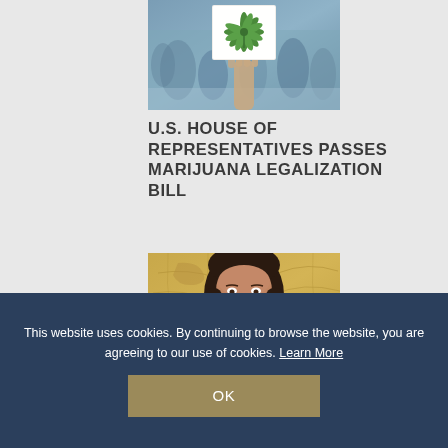[Figure (photo): A hand holding up a sign or card with a cannabis/marijuana leaf against a blurred crowd background]
U.S. HOUSE OF REPRESENTATIVES PASSES MARIJUANA LEGALIZATION BILL
[Figure (photo): Portrait of a smiling woman with long dark hair against a decorative gold/map background]
This website uses cookies. By continuing to browse the website, you are agreeing to our use of cookies. Learn More
OK